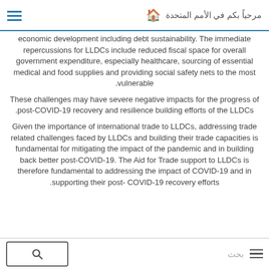مرحياً بكم في الأمم المتحدة
economic development including debt sustainability. The immediate repercussions for LLDCs include reduced fiscal space for overall government expenditure, especially healthcare, sourcing of essential medical and food supplies and providing social safety nets to the most vulnerable.
These challenges may have severe negative impacts for the progress of post-COVID-19 recovery and resilience building efforts of the LLDCs.
Given the importance of international trade to LLDCs, addressing trade related challenges faced by LLDCs and building their trade capacities is fundamental for mitigating the impact of the pandemic and in building back better post-COVID-19. The Aid for Trade support to LLDCs is therefore fundamental to addressing the impact of COVID-19 and in supporting their post- COVID-19 recovery efforts.
بحث